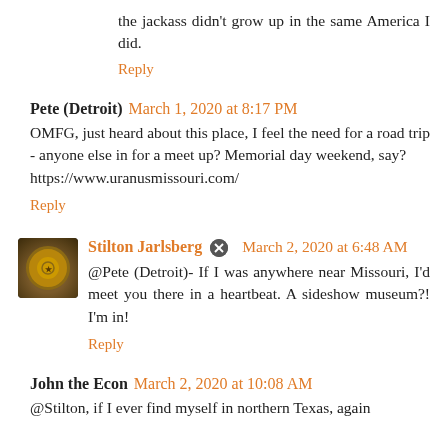the jackass didn't grow up in the same America I did.
Reply
Pete (Detroit)  March 1, 2020 at 8:17 PM
OMFG, just heard about this place, I feel the need for a road trip - anyone else in for a meet up? Memorial day weekend, say?
https://www.uranusmissouri.com/
Reply
Stilton Jarlsberg  March 2, 2020 at 6:48 AM
@Pete (Detroit)- If I was anywhere near Missouri, I'd meet you there in a heartbeat. A sideshow museum?! I'm in!
Reply
John the Econ  March 2, 2020 at 10:08 AM
@Stilton, if I ever find myself in northern Texas, again